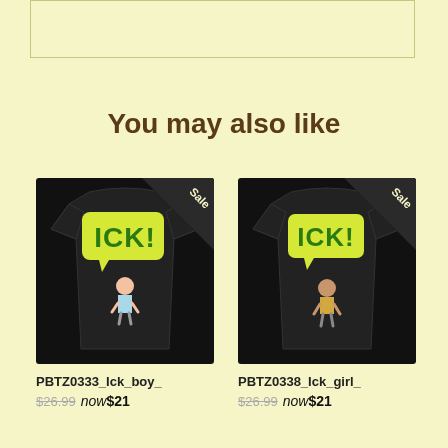[Figure (other): Top partial box/card element with light yellow background and border]
You may also like
[Figure (photo): Black t-shirt with ICK! comic speech bubble graphic and small boy character, Sale badge in corner]
PBTZ0333_Ick_boy_
$26.99  now $21
[Figure (photo): Black t-shirt with ICK! comic speech bubble graphic and small girl character, Sale badge in corner]
PBTZ0338_Ick_girl_
$26.99  now $21